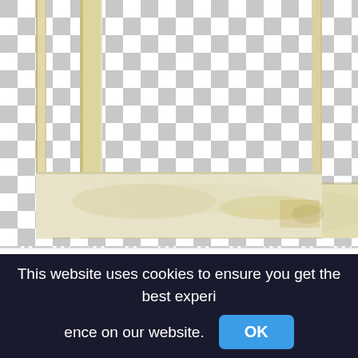[Figure (photo): A polaroid frame with tape shown on a checkerboard (transparent background) pattern. The frame is a yellowed/cream colored polaroid with the bottom white section visible. The checkerboard gray-and-white squares fill the area around and inside the frame opening.]
Polaroid Frame With Tape Png, #polaroid #tape #instax #frame #polaroidframe #freetoedit,cassette tape png
2141x2451px
This website uses cookies to ensure you get the best experience on our website. OK